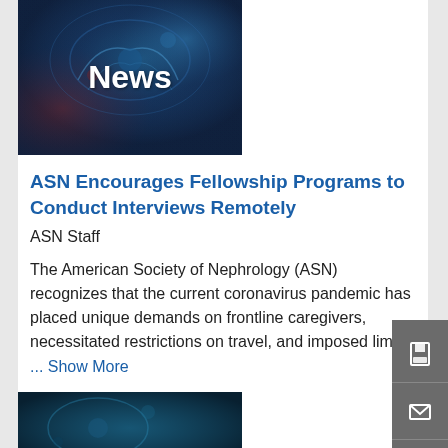[Figure (photo): News banner image with dark blue/teal background showing abstract neural or biological imagery with the word 'News' in bold white text]
ASN Encourages Fellowship Programs to Conduct Interviews Remotely
ASN Staff
The American Society of Nephrology (ASN) recognizes that the current coronavirus pandemic has placed unique demands on frontline caregivers, necessitated restrictions on travel, and imposed limita
... Show More
[Figure (photo): Partial view of a second news article image with dark teal/blue background showing abstract biological imagery]